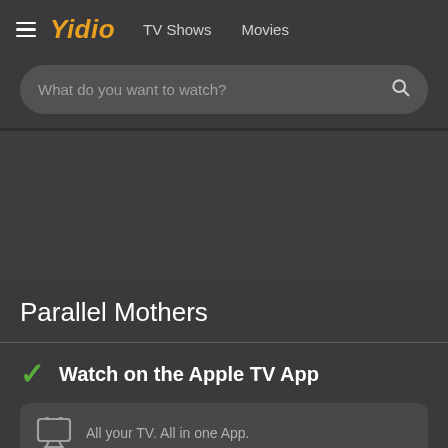Yidio  TV Shows  Movies
What do you want to watch?
Parallel Mothers
✓ Watch on the Apple TV App
All your TV. All in one App.